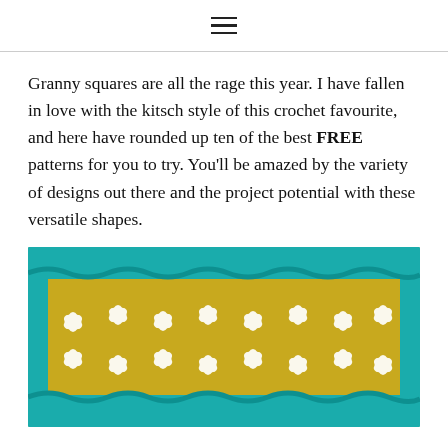≡
Granny squares are all the rage this year. I have fallen in love with the kitsch style of this crochet favourite, and here have rounded up ten of the best FREE patterns for you to try. You'll be amazed by the variety of designs out there and the project potential with these versatile shapes.
[Figure (photo): Close-up photo of a crocheted granny square featuring teal/turquoise yarn border and white flower motifs on a yellow/gold background.]